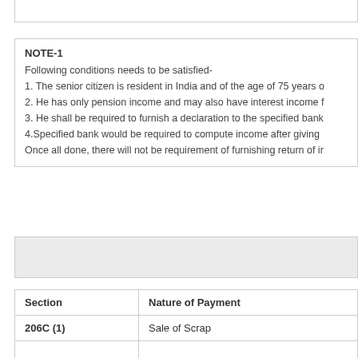NOTE-1
Following conditions needs to be satisfied-
1. The senior citizen is resident in India and of the age of 75 years o
2. He has only pension income and may also have interest income f
3. He shall be required to furnish a declaration to the specified bank
4.Specified bank would be required to compute income after giving
Once all done, there will not be requirement of furnishing return of ir
| Section | Nature of Payment |
| --- | --- |
| 206C (1) | Sale of Scrap |
|  |  |